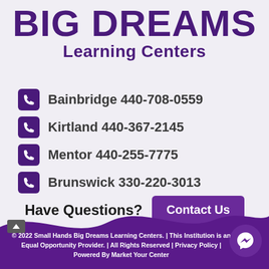BIG DREAMS
Learning Centers
Bainbridge 440-708-0559
Kirtland 440-367-2145
Mentor 440-255-7775
Brunswick 330-220-3013
Have Questions?  Contact Us
© 2022 Small Hands Big Dreams Learning Centers. | This Institution is an Equal Opportunity Provider. | All Rights Reserved | Privacy Policy | Powered By Market Your Center